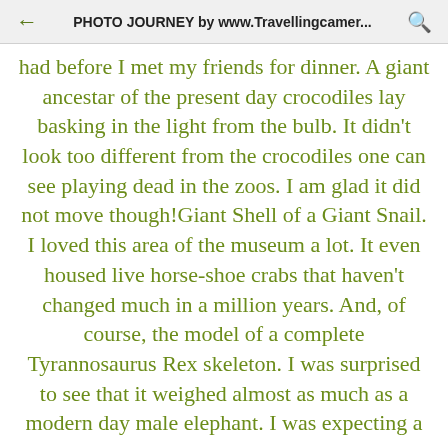PHOTO JOURNEY by www.Travellingcamer...
had before I met my friends for dinner. A giant ancestar of the present day crocodiles lay basking in the light from the bulb. It didn't look too different from the crocodiles one can see playing dead in the zoos. I am glad it did not move though!Giant Shell of a Giant Snail. I loved this area of the museum a lot. It even housed live horse-shoe crabs that haven't changed much in a million years. And, of course, the model of a complete Tyrannosaurus Rex skeleton. I was surprised to see that it weighed almost as much as a modern day male elephant. I was expecting a